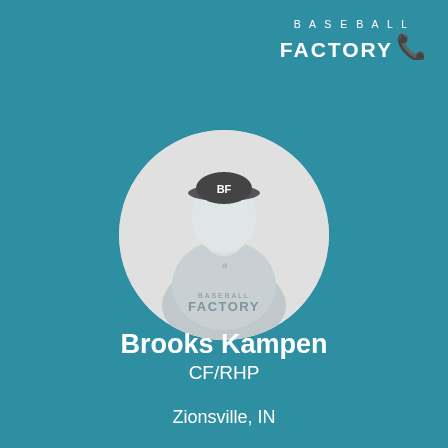[Figure (logo): Baseball Factory logo with phone icon, white text on teal background, top right corner]
[Figure (photo): Circular cropped black and white photo of baseball player Brooks Kampen wearing a Baseball Factory uniform and cap, with Baseball Factory watermark text overlay]
Brooks Kampen
CF/RHP
Zionsville, IN